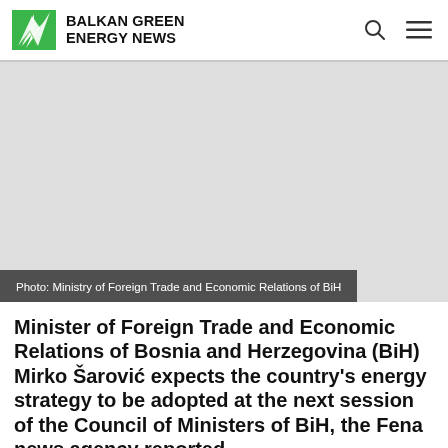BALKAN GREEN ENERGY NEWS
[Figure (photo): Photo area showing ministry related image, with caption overlay: Photo: Ministry of Foreign Trade and Economic Relations of BiH]
Photo: Ministry of Foreign Trade and Economic Relations of BiH
Minister of Foreign Trade and Economic Relations of Bosnia and Herzegovina (BiH) Mirko Šarović expects the country's energy strategy to be adopted at the next session of the Council of Ministers of BiH, the Fena news agency reported.